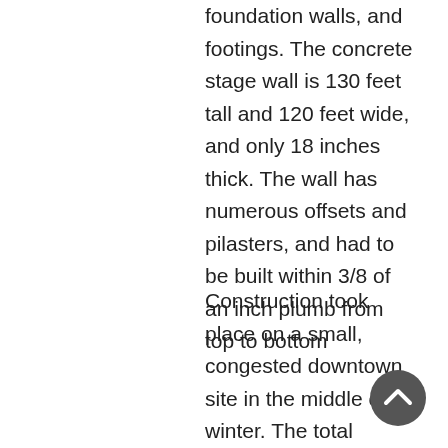foundation walls, and footings. The concrete stage wall is 130 feet tall and 120 feet wide, and only 18 inches thick. The wall has numerous offsets and pilasters, and had to be built within 3/8 of an inch plumb from top to bottom
Construction took place on a small, congested downtown site in the middle of winter. The total project encompassed more than 23 pours and 4,000 yards of concrete. A special layout team dealt with the project's painstaking details. A special gang system was designed for the 130-foot high walls. Crews
[Figure (other): A circular dark grey button with an upward-pointing chevron arrow icon, used as a scroll-to-top navigation button.]